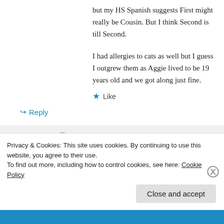but my HS Spanish suggests First might really be Cousin. But I think Second is till Second.
I had allergies to cats as well but I guess I outgrew them as Aggie lived to be 19 years old and we got along just fine.
★ Like
↳ Reply
lameadventures on August 1, 2013 at 10:38
Privacy & Cookies: This site uses cookies. By continuing to use this website, you agree to their use. To find out more, including how to control cookies, see here: Cookie Policy
Close and accept